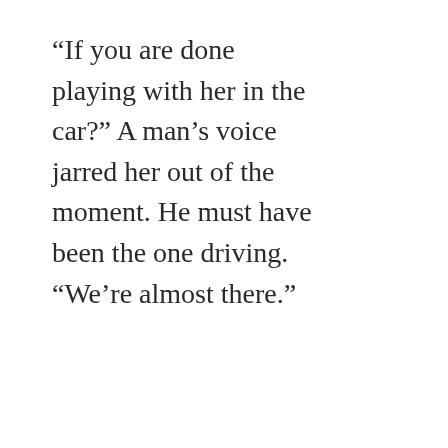“If you are done playing with her in the car?” A man’s voice jarred her out of the moment. He must have been the one driving. “We’re almost there.”